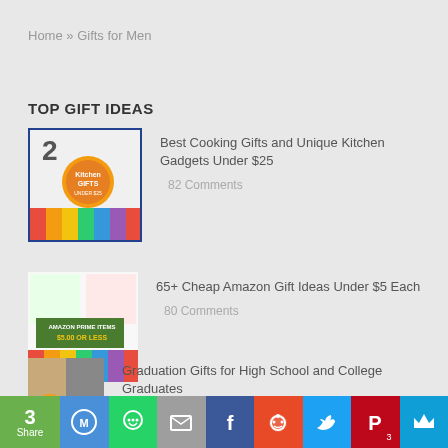Home » Gifts for Men
TOP GIFT IDEAS
Best Cooking Gifts and Unique Kitchen Gadgets Under $25 — 82 Comments
65+ Cheap Amazon Gift Ideas Under $5 Each — 80 Comments
Graduation Gifts for High School and College Graduates — 71 Comments